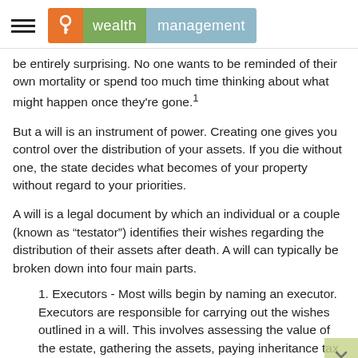wealth management
be entirely surprising. No one wants to be reminded of their own mortality or spend too much time thinking about what might happen once they’re gone.¹
But a will is an instrument of power. Creating one gives you control over the distribution of your assets. If you die without one, the state decides what becomes of your property without regard to your priorities.
A will is a legal document by which an individual or a couple (known as “testator”) identifies their wishes regarding the distribution of their assets after death. A will can typically be broken down into four main parts.
1. Executors - Most wills begin by naming an executor. Executors are responsible for carrying out the wishes outlined in a will. This involves assessing the value of the estate, gathering the assets, paying inheritance tax